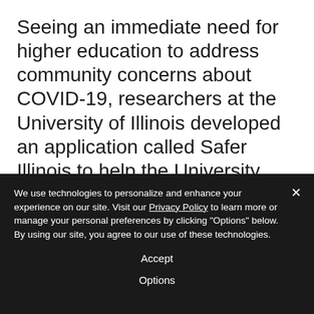Seeing an immediate need for higher education to address community concerns about COVID-19, researchers at the University of Illinois developed an application called Safer Illinois to help the University with symptom checking, test locations, digital test results, exposure notification, facilities access management, COVID-19 news and guidelines and more. This summer, the
We use technologies to personalize and enhance your experience on our site. Visit our Privacy Policy to learn more or manage your personal preferences by clicking "Options" below. By using our site, you agree to our use of these technologies.
Accept
Options